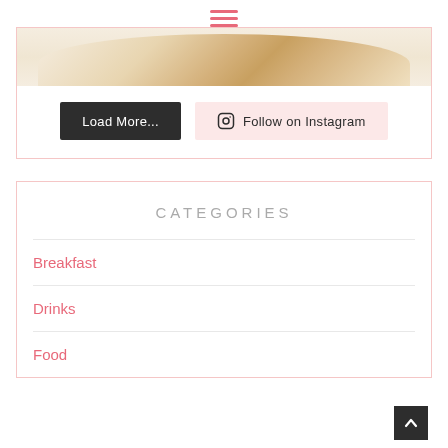≡ (hamburger menu icon)
[Figure (photo): Partial view of a gold-rimmed plate with food, cropped at the top]
Load More...
Follow on Instagram
CATEGORIES
Breakfast
Drinks
Food